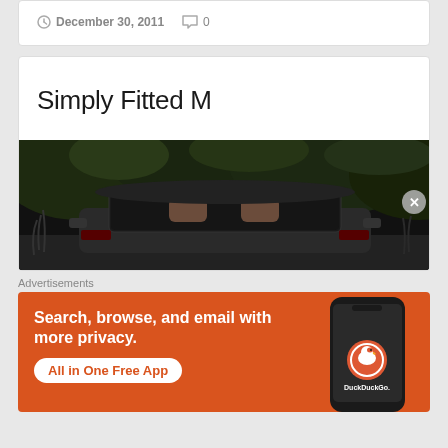December 30, 2011   0
Simply Fitted M
[Figure (photo): Dark photograph of a car viewed from behind/above, showing the rear windshield and headrests, surrounded by dark trees/foliage in background]
Advertisements
[Figure (screenshot): DuckDuckGo advertisement banner with orange background. Text reads: Search, browse, and email with more privacy. All in One Free App. Shows a smartphone with DuckDuckGo logo.]